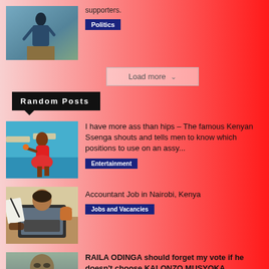[Figure (photo): A man in a suit at a podium speaking to supporters]
supporters.
Politics
Load more
Random Posts
[Figure (photo): A woman in a red bikini standing by a pool]
I have more ass than hips – The famous Kenyan Ssenga shouts and tells men to know which positions to use on an assy...
Entertainment
[Figure (photo): An overhead view of a person working on a laptop at a table]
Accountant Job in Nairobi, Kenya
Jobs and Vacancies
[Figure (photo): A person wearing a face mask]
RAILA ODINGA should forget my vote if he doesn't choose KALONZO MUSYOKA...